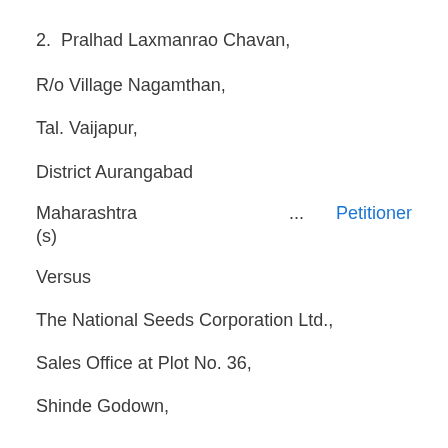2.  Pralhad Laxmanrao Chavan,
R/o Village Nagamthan,
Tal. Vaijapur,
District Aurangabad
Maharashtra ... Petitioner(s)
Versus
The National Seeds Corporation Ltd.,
Sales Office at Plot No. 36,
Shinde Godown,